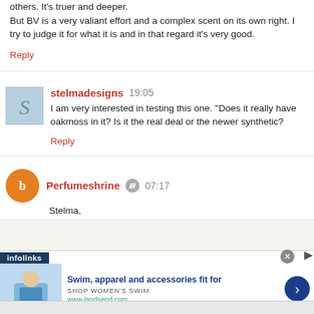others. It's truer and deeper. But BV is a very valiant effort and a complex scent on its own right. I try to judge it for what it is and in that regard it's very good.
Reply
stelmadesigns  19:05
I am very interested in testing this one. "Does it really have oakmoss in it? Is it the real deal or the newer synthetic?
Reply
Perfumeshrine  07:17
Stelma,
[Figure (infographic): Infolinks advertisement banner for Lands' End swimwear. Shows 'infolinks' label in dark blue bar, woman in blue swimsuit, headline 'Swim, apparel and accessories fit for', subtext 'SHOP WOMEN'S SWIM', URL 'www.landsend.com', close button, and blue arrow navigation button.]